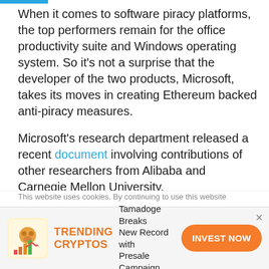When it comes to software piracy platforms, the top performers remain for the office productivity suite and Windows operating system. So it's not a surprise that the developer of the two products, Microsoft, takes its moves in creating Ethereum backed anti-piracy measures.
Microsoft's research department released a recent document involving contributions of other researchers from Alibaba and Carnegie Mellon University.
The document revealed that the software giant engaged in a blockchain-based reward system to
This website uses cookies. By continuing to use this website
TRENDING CRYPTOS — Tamadoge Breaks New Record with Presale Campaign — INVEST NOW